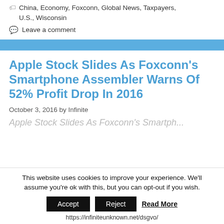China, Economy, Foxconn, Global News, Taxpayers, U.S., Wisconsin
Leave a comment
Apple Stock Slides As Foxconn’s Smartphone Assembler Warns Of 52% Profit Drop In 2016
October 3, 2016 by Infinite
This website uses cookies to improve your experience. We’ll assume you’re ok with this, but you can opt-out if you wish.
Accept  Reject  Read More  https://infiniteunknown.net/dsgvo/